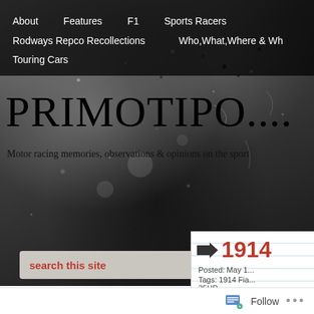About   Features   F1   Sports Racers   Rodways Repco Recollections   Who,What,Where & Wh...   Touring Cars
PRIMOTIPO....
Motor racing memories, observations & opinions on the sport
[Figure (screenshot): Black and white textured background photo used as website header background]
search this site →
→ 1914
Posted: May 1...
Tags: 1914 Fia... 35HP
Follow ...